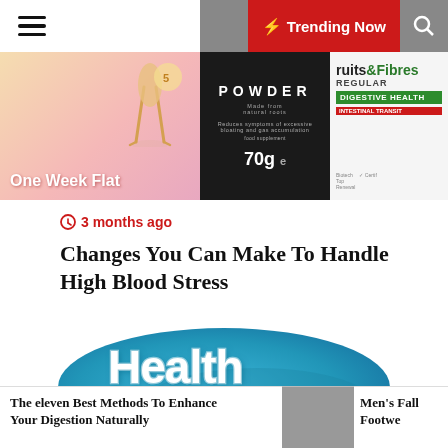☰ ☽ ⚡ Trending Now 🔍
[Figure (photo): Advertisement banner showing 'One Week Flat', a powder supplement (70g), and Fruits & Fibres Regular Digestive Health products]
3 months ago
Changes You Can Make To Handle High Blood Stress
[Figure (illustration): Blue rounded rectangle with white text reading 'Health Advice']
The eleven Best Methods To Enhance Your Digestion Naturally
Men's Fall Footwe